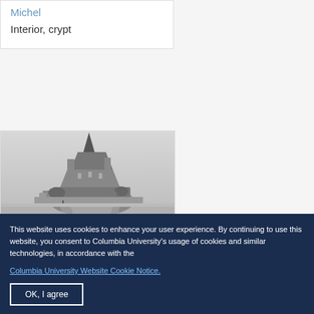Michel
Interior, crypt
[Figure (photo): Black and white photograph of Mont Saint-Michel, a medieval island abbey in Normandy, France, reflected in still water below]
This website uses cookies to enhance your user experience. By continuing to use this website, you consent to Columbia University's usage of cookies and similar technologies, in accordance with the Columbia University Website Cookie Notice.
OK, I agree